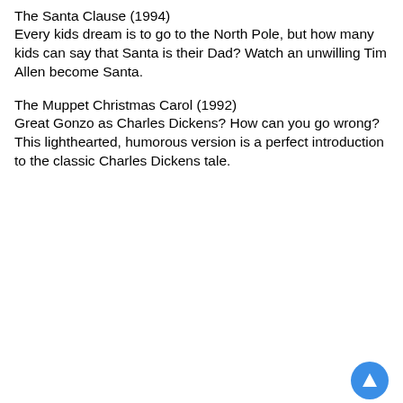The Santa Clause (1994)
Every kids dream is to go to the North Pole, but how many kids can say that Santa is their Dad? Watch an unwilling Tim Allen become Santa.
The Muppet Christmas Carol (1992)
Great Gonzo as Charles Dickens? How can you go wrong? This lighthearted, humorous version is a perfect introduction to the classic Charles Dickens tale.